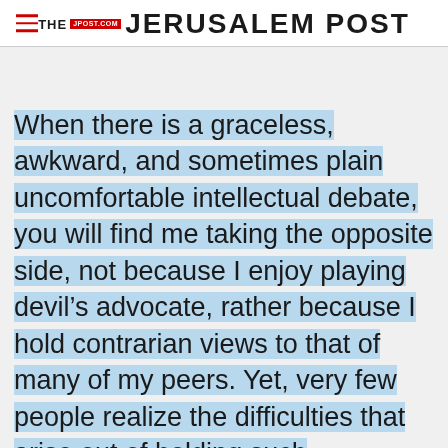THE JERUSALEM POST
When there is a graceless, awkward, and sometimes plain uncomfortable intellectual debate, you will find me taking the opposite side, not because I enjoy playing devil’s advocate, rather because I hold contrarian views to that of many of my peers. Yet, very few people realize the difficulties that arise out of holding such
Advertisement